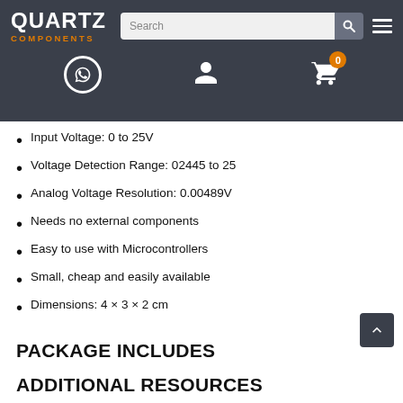QUARTZ COMPONENTS — navigation bar with search and icons
Input Voltage: 0 to 25V
Voltage Detection Range: 02445 to 25
Analog Voltage Resolution: 0.00489V
Needs no external components
Easy to use with Microcontrollers
Small, cheap and easily available
Dimensions: 4 × 3 × 2 cm
PACKAGE INCLUDES
1×Voltage Detection Sensor Module
ADDITIONAL RESOURCES